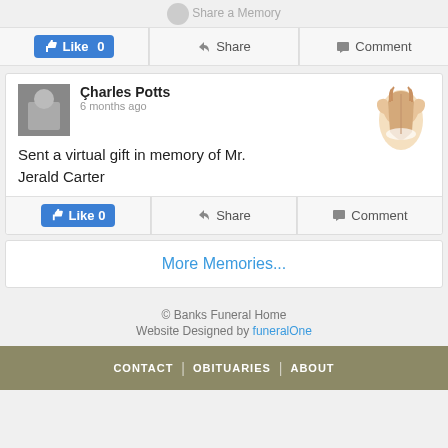Share a Memory
[Figure (screenshot): Like 0, Share, Comment action bar]
[Figure (screenshot): Memory card: Charles Potts, 6 months ago, Sent a virtual gift in memory of Mr. Jerald Carter, with praying hands icon]
Sent a virtual gift in memory of Mr. Jerald Carter
[Figure (screenshot): Like 0, Share, Comment action bar]
More Memories...
© Banks Funeral Home
Website Designed by funeralOne
CONTACT | OBITUARIES | ABOUT